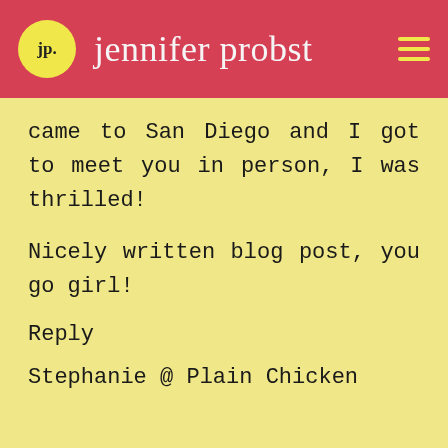jp. jennifer probst
came to San Diego and I got to meet you in person, I was thrilled!
Nicely written blog post, you go girl!
Reply
Stephanie @ Plain Chicken